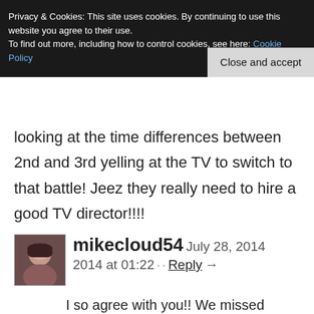Privacy & Cookies: This site uses cookies. By continuing to use this website you agree to their use. To find out more, including how to control cookies, see here: Cookie Policy
Close and accept
looking at the time differences between 2nd and 3rd yelling at the TV to switch to that battle! Jeez they really need to hire a good TV director!!!!
[Figure (photo): Avatar photo of commenter mikecloud54]
mikecloud54 July 28, 2014 at 01:22 · · Reply →
I so agree with you!! We missed